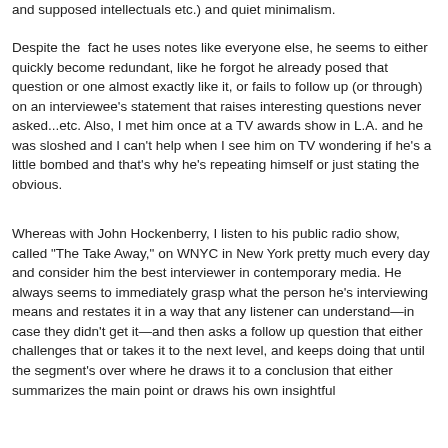and supposed intellectuals etc.) and quiet minimalism.
Despite the  fact he uses notes like everyone else, he seems to either quickly become redundant, like he forgot he already posed that question or one almost exactly like it, or fails to follow up (or through) on an interviewee's statement that raises interesting questions never asked...etc. Also, I met him once at a TV awards show in L.A. and he was sloshed and I can't help when I see him on TV wondering if he's a little bombed and that's why he's repeating himself or just stating the obvious.
Whereas with John Hockenberry, I listen to his public radio show, called "The Take Away," on WNYC in New York pretty much every day and consider him the best interviewer in contemporary media. He always seems to immediately grasp what the person he's interviewing means and restates it in a way that any listener can understand—in case they didn't get it—and then asks a follow up question that either challenges that or takes it to the next level, and keeps doing that until the segment's over where he draws it to a conclusion that either summarizes the main point or draws his own insightful